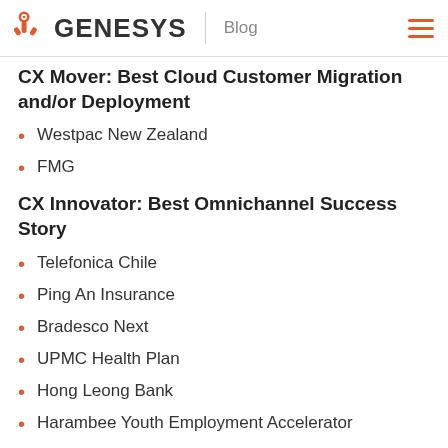GENESYS Blog
CX Mover: Best Cloud Customer Migration and/or Deployment
Westpac New Zealand
FMG
CX Innovator: Best Omnichannel Success Story
Telefonica Chile
Ping An Insurance
Bradesco Next
UPMC Health Plan
Hong Leong Bank
Harambee Youth Employment Accelerator
he winners will be chosen by an executive panel